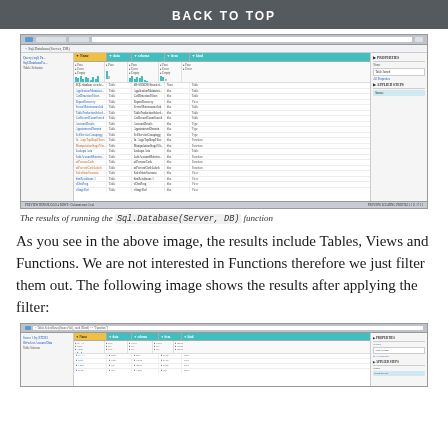BACK TO TOP
[Figure (screenshot): Power Query Editor screenshot showing results of Sql.Database(Server, DB) function with Tables, Views, and Functions listed in a grid with columns including Name, Data, Item, Kind, Hidden]
The results of running the Sql.Database(Server, DB) function
As you see in the above image, the results include Tables, Views and Functions. We are not interested in Functions therefore we just filter them out. The following image shows the results after applying the filter:
[Figure (screenshot): Power Query Editor screenshot showing filtered results after applying filter to remove Functions, showing only Tables and Views]